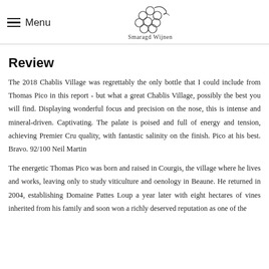Menu | Smaragd Wijnen
Review
The 2018 Chablis Village was regrettably the only bottle that I could include from Thomas Pico in this report - but what a great Chablis Village, possibly the best you will find. Displaying wonderful focus and precision on the nose, this is intense and mineral-driven. Captivating. The palate is poised and full of energy and tension, achieving Premier Cru quality, with fantastic salinity on the finish. Pico at his best. Bravo. 92/100 Neil Martin
The energetic Thomas Pico was born and raised in Courgis, the village where he lives and works, leaving only to study viticulture and oenology in Beaune. He returned in 2004, establishing Domaine Pattes Loup a year later with eight hectares of vines inherited from his family and soon won a richly deserved reputation as one of the